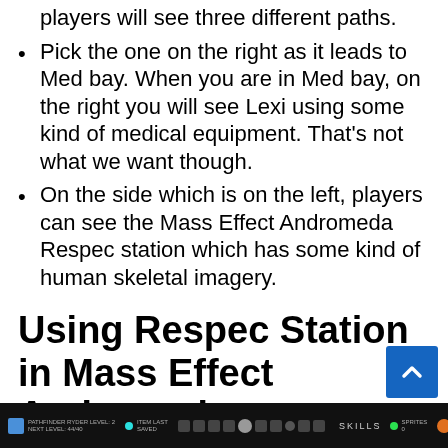After taking one of the doorways, players will see three different paths.
Pick the one on the right as it leads to Med bay. When you are in Med bay, on the right you will see Lexi using some kind of medical equipment. That's not what we want though.
On the side which is on the left, players can see the Mass Effect Andromeda Respec station which has some kind of human skeletal imagery.
Using Respec Station in Mass Effect Andromeda
[Figure (screenshot): Screenshot of Mass Effect Andromeda HUD/skills bar interface at the bottom of the screen, showing player level, skills menu icons, and other game UI elements on a dark background.]